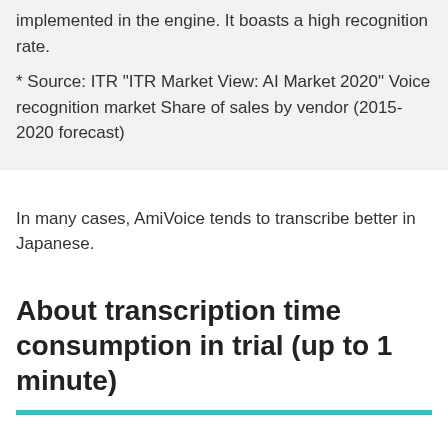implemented in the engine. It boasts a high recognition rate.
* Source: ITR "ITR Market View: AI Market 2020" Voice recognition market Share of sales by vendor (2015-2020 forecast)
In many cases, AmiVoice tends to transcribe better in Japanese.
About transcription time consumption in trial (up to 1 minute)